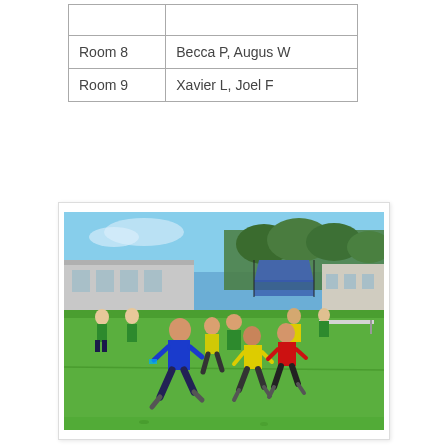|  |  |
| Room 8 | Becca P, Augus W |
| Room 9 | Xavier L, Joel F |
[Figure (photo): Children running on a grass sports field during a school sports day event. Students wearing blue, yellow, red, and green shirts are running. In the background there is a school building, trees, a blue canopy/tent, and spectators.]